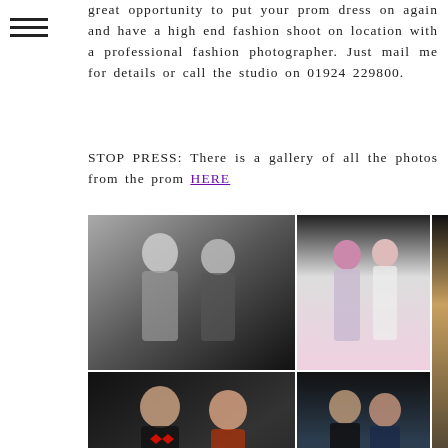great opportunity to put your prom dress on again and have a high end fashion shoot on location with a professional fashion photographer. Just mail me for details or call the studio on 01924 229800.
STOP PRESS: There is a gallery of all the photos from the prom HERE
[Figure (photo): Collage of six prom photos showing young couples and groups dressed in formal attire including suits, ties, and evening dresses, photographed against dark studio backgrounds.]